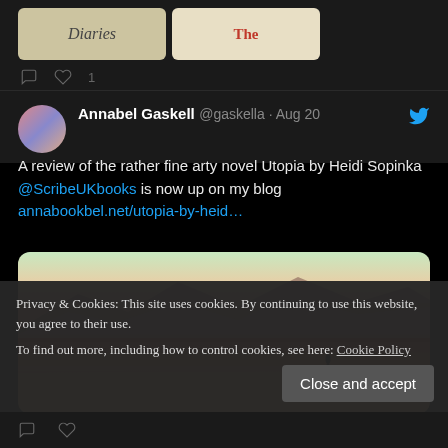[Figure (screenshot): Top portion of Twitter/social feed showing book cover images (Diaries and The...) with like count of 1]
Annabel Gaskell @gaskella · Aug 20
A review of the rather fine arty novel Utopia by Heidi Sopinka @ScribeUKbooks is now up on my blog annabookbel.net/utopia-by-heid…
[Figure (photo): Desert landscape photo showing a lone figure walking on a flat arid plain with mountains and pink/red sky in the background]
Privacy & Cookies: This site uses cookies. By continuing to use this website, you agree to their use.
To find out more, including how to control cookies, see here: Cookie Policy
Close and accept